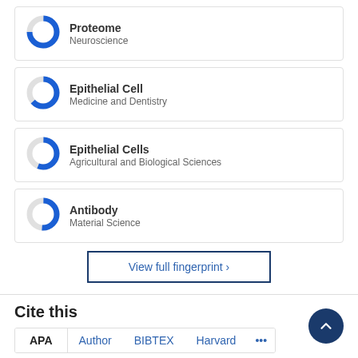[Figure (donut-chart): Donut chart for Proteome, Neuroscience, ~75% filled blue]
Proteome
Neuroscience
[Figure (donut-chart): Donut chart for Epithelial Cell, Medicine and Dentistry, ~65% filled blue]
Epithelial Cell
Medicine and Dentistry
[Figure (donut-chart): Donut chart for Epithelial Cells, Agricultural and Biological Sciences, ~60% filled blue]
Epithelial Cells
Agricultural and Biological Sciences
[Figure (donut-chart): Donut chart for Antibody, Material Science, ~55% filled blue]
Antibody
Material Science
View full fingerprint ›
Cite this
APA   Author   BIBTEX   Harvard   ...